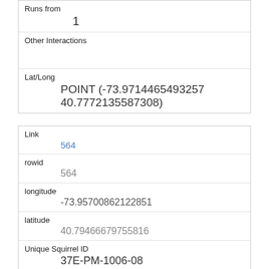| Runs from | 1 |
| Other Interactions |  |
| Lat/Long | POINT (-73.9714465493257 40.7772135587308) |
| Link | 564 |
| rowid | 564 |
| longitude | -73.95700862122851 |
| latitude | 40.79466679755816 |
| Unique Squirrel ID | 37E-PM-1006-08 |
| Hectare | 37E |
| Shift | PM |